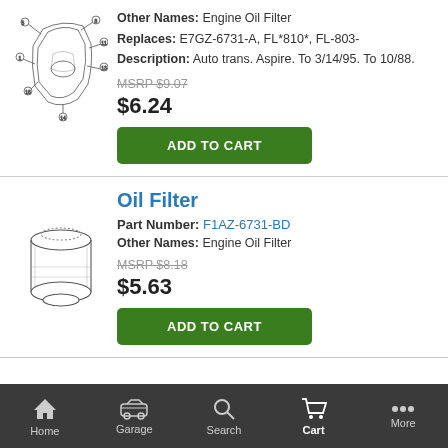[Figure (illustration): Line drawing of an engine oil filter assembly with numbered parts]
Other Names: Engine Oil Filter
Replaces: E7GZ-6731-A, FL*810*, FL-803-
Description: Auto trans. Aspire. To 3/14/95. To 10/88.
MSRP $9.07
$6.24
ADD TO CART
Oil Filter
Part Number: F1AZ-6731-BD
Other Names: Engine Oil Filter
MSRP $8.18
$5.63
ADD TO CART
[Figure (illustration): Line drawing of a cylindrical oil filter]
Home  Garage  Search  Cart  More